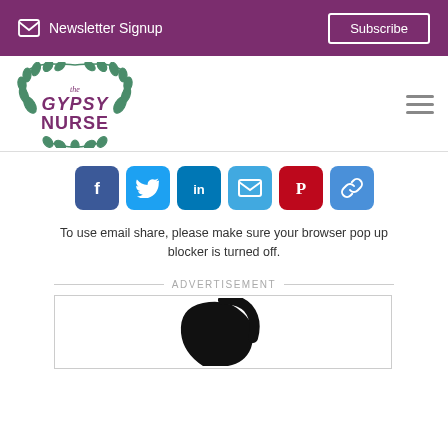Newsletter Signup   Subscribe
[Figure (logo): The Gypsy Nurse logo with laurel wreath and stylized text]
[Figure (infographic): Social sharing buttons: Facebook, Twitter, LinkedIn, Email, Pinterest, Copy Link]
To use email share, please make sure your browser pop up blocker is turned off.
ADVERTISEMENT
[Figure (photo): Advertisement image showing partial black logo/graphic]